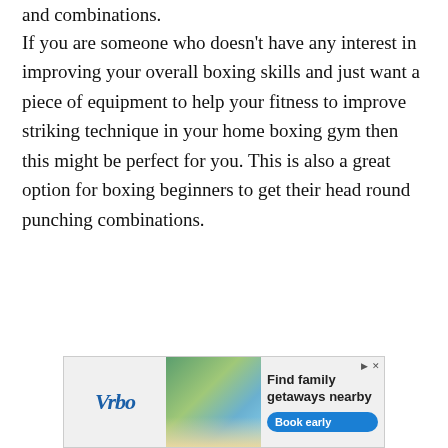and combinations.
If you are someone who doesn't have any interest in improving your overall boxing skills and just want a piece of equipment to help your fitness to improve striking technique in your home boxing gym then this might be perfect for you. This is also a great option for boxing beginners to get their head round punching combinations.
[Figure (other): Vrbo advertisement banner showing a beachside vacation home with text 'Find family getaways nearby' and a 'Book early' button]